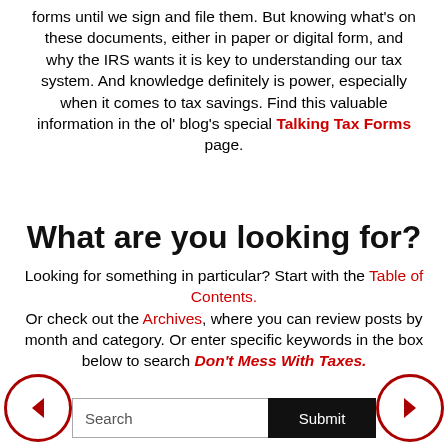forms until we sign and file them. But knowing what's on these documents, either in paper or digital form, and why the IRS wants it is key to understanding our tax system. And knowledge definitely is power, especially when it comes to tax savings. Find this valuable information in the ol' blog's special Talking Tax Forms page.
What are you looking for?
Looking for something in particular? Start with the Table of Contents. Or check out the Archives, where you can review posts by month and category. Or enter specific keywords in the box below to search Don't Mess With Taxes.